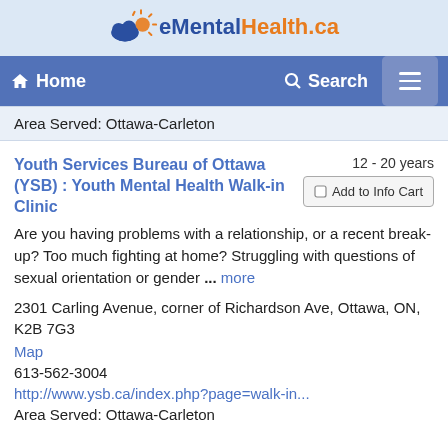[Figure (logo): eMentalHealth.ca logo with cloud and sun icon]
Home   Search
Area Served: Ottawa-Carleton
Youth Services Bureau of Ottawa (YSB) : Youth Mental Health Walk-in Clinic
12 - 20 years
Add to Info Cart
Are you having problems with a relationship, or a recent break-up? Too much fighting at home? Struggling with questions of sexual orientation or gender ... more
2301 Carling Avenue, corner of Richardson Ave, Ottawa, ON, K2B 7G3
Map
613-562-3004
http://www.ysb.ca/index.php?page=walk-in...
Area Served: Ottawa-Carleton